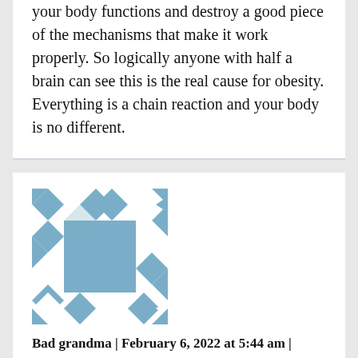your body functions and destroy a good piece of the mechanisms that make it work properly. So logically anyone with half a brain can see this is the real cause for obesity. Everything is a chain reaction and your body is no different.
Bad grandma | February 6, 2022 at 5:44 am | Reply
[Figure (illustration): Default avatar icon with blue and white diamond/quilt pattern]
Body shaming is wrong. Obesity is usually a medical problem. No history in my family of obesity. My daughter is obese